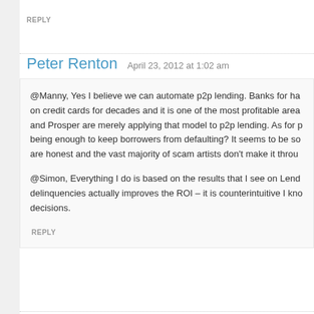REPLY
Peter Renton   April 23, 2012 at 1:02 am
@Manny, Yes I believe we can automate p2p lending. Banks for ha on credit cards for decades and it is one of the most profitable area and Prosper are merely applying that model to p2p lending. As for p being enough to keep borrowers from defaulting? It seems to be so are honest and the vast majority of scam artists don't make it throu
@Simon, Everything I do is based on the results that I see on Lend delinquencies actually improves the ROI – it is counterintuitive I kno decisions.
REPLY